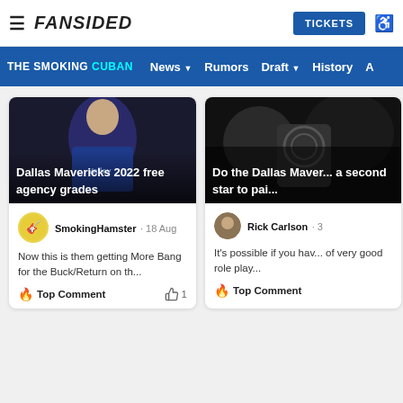FANSIDED — TICKETS
THE SMOKING CUBAN · News · Rumors · Draft · History · A
[Figure (photo): Dallas Mavericks basketball player in blue jersey with overlay text]
Dallas Mavericks 2022 free agency grades
SmokingHamster · 18 Aug
Now this is them getting More Bang for the Buck/Return on th...
🔥 Top Comment · 👍 1
[Figure (photo): Dallas Mavericks article photo with crowd in background]
Do the Dallas Maver... a second star to pai...
Rick Carlson · 3
It's possible if you hav... of very good role play...
🔥 Top Comment